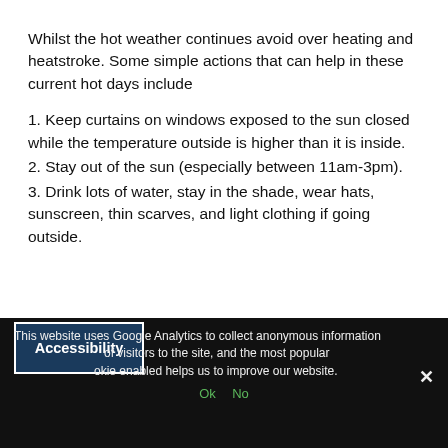Whilst the hot weather continues avoid over heating and heatstroke. Some simple actions that can help in these current hot days include
1. Keep curtains on windows exposed to the sun closed while the temperature outside is higher than it is inside.
2. Stay out of the sun (especially between 11am-3pm).
3. Drink lots of water, stay in the shade, wear hats, sunscreen, thin scarves, and light clothing if going outside.
This website uses Google Analytics to collect anonymous information of visitors to the site, and the most popular ookie enabled helps us to improve our website.
Ok  No